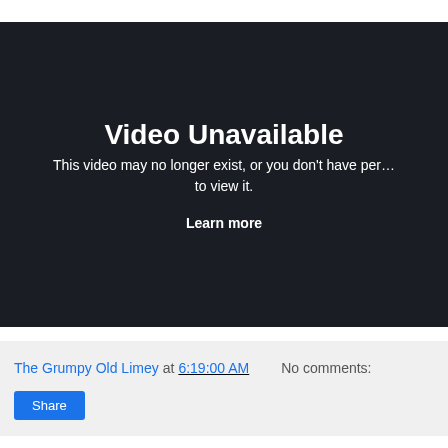[Figure (screenshot): Video embed placeholder with dark background showing 'Video Unavailable' message. Text reads: 'Video Unavailable / This video may no longer exist, or you don't have permission to view it. / Learn more']
The Grumpy Old Limey at 6:19:00 AM    No comments:
Share